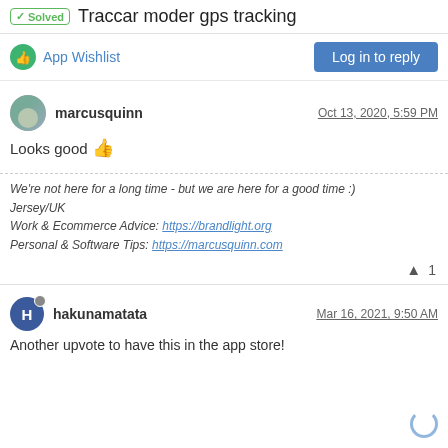✓ Solved  Traccar moder gps tracking
App Wishlist
Log in to reply
marcusquinn
Oct 13, 2020, 5:59 PM
Looks good 👍
We're not here for a long time - but we are here for a good time :)
Jersey/UK
Work & Ecommerce Advice: https://brandlight.org
Personal & Software Tips: https://marcusquinn.com
^ 1
hakunamatata
Mar 16, 2021, 9:50 AM
Another upvote to have this in the app store!